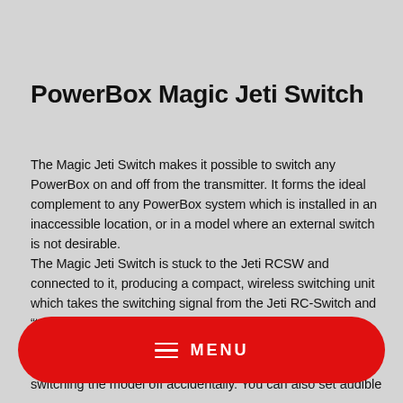PowerBox Magic Jeti Switch
The Magic Jeti Switch makes it possible to switch any PowerBox on and off from the transmitter. It forms the ideal complement to any PowerBox system which is installed in an inaccessible location, or in a model where an external switch is not desirable.
The Magic Jeti Switch is stuck to the Jeti RCSW and connected to it, producing a compact, wireless switching unit which takes the switching signal from the Jeti RC-Switch and "translates" it for the PowerBox. At the transmitter the switching process
[Figure (other): Red rounded rectangle MENU button with hamburger icon and MENU label in white text]
switching the model off accidentally. You can also set audible